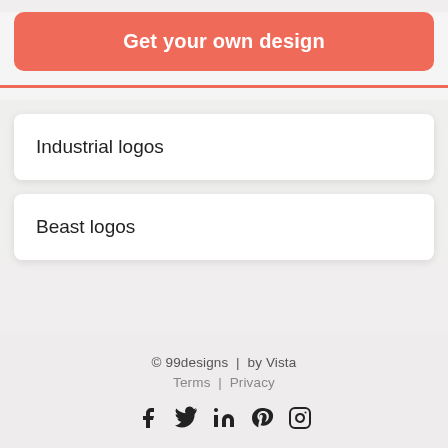Get your own design
Industrial logos
Beast logos
© 99designs  |  by Vista
Terms  |  Privacy